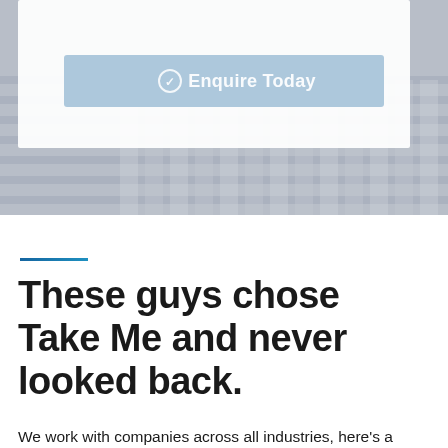[Figure (screenshot): Hero image section showing a white card overlay on a grey/blue background with diagonal lines or blinds texture. Contains a light blue 'Enquire Today' button with a checkmark icon.]
These guys chose Take Me and never looked back.
We work with companies across all industries, here's a